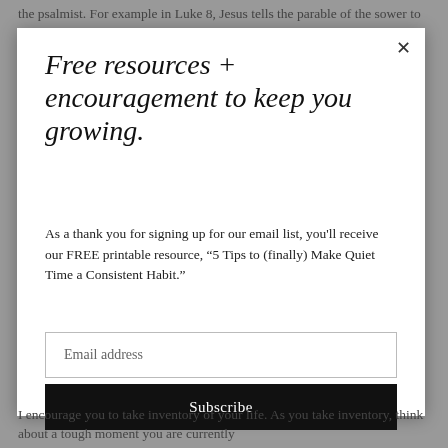the psalmist. For example in Luke 8, Jesus tells the parable of the sower to a large crowd. As the seed was scattered, it
Free resources + encouragement to keep you growing.
As a thank you for signing up for our email list, you'll receive our FREE printable resource, “5 Tips to (finally) Make Quiet Time a Consistent Habit.”
Email address
Subscribe
I encourage you to take inventory of your life. As you take inventory, think about a tough moment you are currently